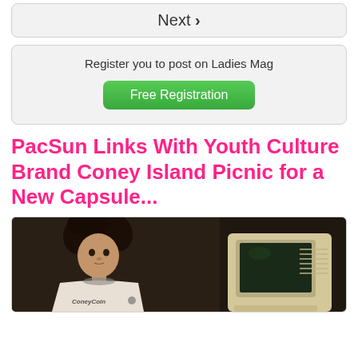Next ›
Register you to post on Ladies Mag
Free Registration
PacSun Links With Youth Culture Brand Coney Island Picnic for a New Capsule...
[Figure (photo): Fashion editorial photo: young person with curly hair wearing a white 'ConeyCoin' branded sweatshirt, posed next to a vintage beige CRT computer monitor, against a dark background.]